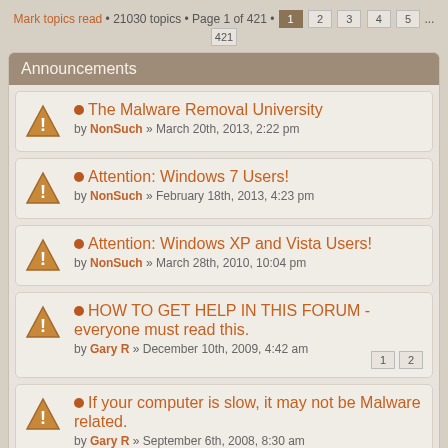Mark topics read • 21030 topics • Page 1 of 421 • 1 2 3 4 5 ... 421
Announcements
The Malware Removal University
by NonSuch » March 20th, 2013, 2:22 pm
Attention: Windows 7 Users!
by NonSuch » February 18th, 2013, 4:23 pm
Attention: Windows XP and Vista Users!
by NonSuch » March 28th, 2010, 10:04 pm
HOW TO GET HELP IN THIS FORUM - everyone must read this.
by Gary R » December 10th, 2009, 4:42 am
If your computer is slow, it may not be Malware related.
by Gary R » September 6th, 2008, 8:30 am
Topics
still waiting